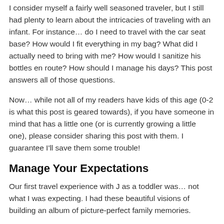I consider myself a fairly well seasoned traveler, but I still had plenty to learn about the intricacies of traveling with an infant. For instance… do I need to travel with the car seat base? How would I fit everything in my bag? What did I actually need to bring with me? How would I sanitize his bottles en route? How should I manage his days? This post answers all of those questions.
Now… while not all of my readers have kids of this age (0-2 is what this post is geared towards), if you have someone in mind that has a little one (or is currently growing a little one), please consider sharing this post with them. I guarantee I'll save them some trouble!
Manage Your Expectations
Our first travel experience with J as a toddler was… not what I was expecting. I had these beautiful visions of building an album of picture-perfect family memories.
Realistically… that was naive. In the same way that J would